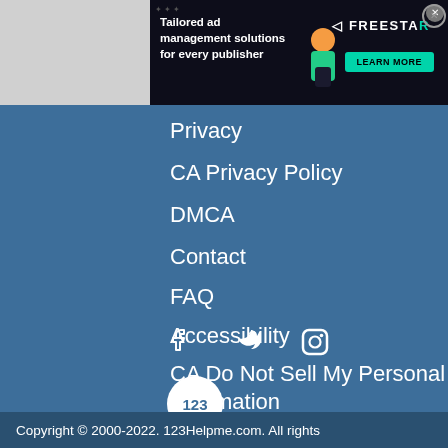[Figure (screenshot): Advertisement banner: 'Tailored ad management solutions for every publisher' with FreeS[tar] branding, Learn More button, and illustration of person with mobile device]
Privacy
CA Privacy Policy
DMCA
Contact
FAQ
Accessibility
CA Do Not Sell My Personal Information
[Figure (illustration): Social media icons: Facebook, Twitter, Instagram]
[Figure (logo): 123HelpMe circular badge logo]
Copyright © 2000-2022. 123Helpme.com. All rights